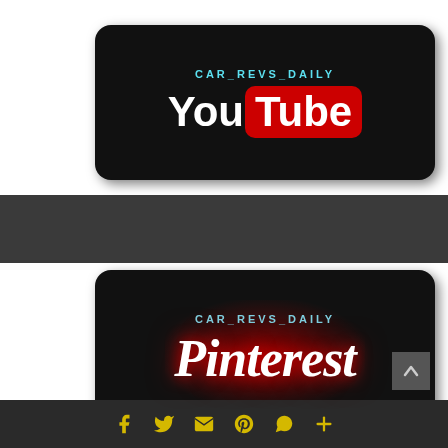[Figure (logo): CAR_REVS_DAILY YouTube channel banner with black rounded rectangle background, CAR_REVS_DAILY in cyan text, YouTube logo in white and red]
[Figure (logo): CAR_REVS_DAILY Pinterest channel banner with black rounded rectangle background, CAR_REVS_DAILY in cyan text, Pinterest logo in white cursive with red glow effect]
[Figure (infographic): Dark footer bar with social media icons: Facebook, Twitter, email, Pinterest, WhatsApp, and plus sign in yellow/gold color]